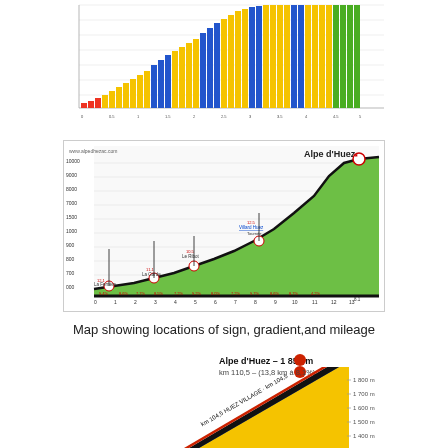[Figure (bar-chart): Colored bar chart showing gradient segments of Alpe d'Huez climb, with bars colored red, yellow, blue, and green representing different gradient categories, ascending from left to right.]
[Figure (infographic): Detailed elevation profile of Alpe d'Huez climb from alpedhezac.com showing kilometer markers, gradient percentages at each section, and labeled towns/villages including La Ferrière, La Garde, Le Ribot, Villard-Huez, with elevations from about 700m to 1850m.]
Map showing locations of sign, gradient,and mileage
[Figure (infographic): Close-up infographic of Alpe d'Huez summit showing: Alpe d'Huez - 1 850 m, km 110,5 - (13,8 km à 8,1%), with diagonal road profile showing colored bands (blue, black, red, yellow) representing road sections, elevation markers on right side (1 800m, 1 700m, 1 600m, 1 500m, 1 400m) and km 104,5 label.]